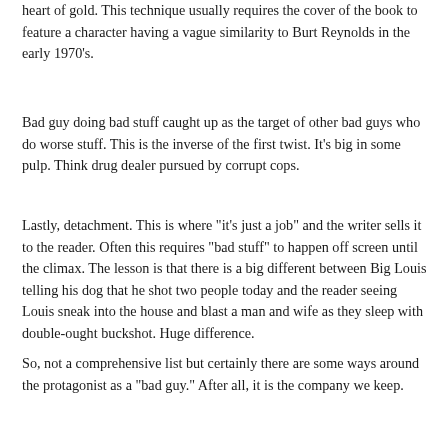heart of gold. This technique usually requires the cover of the book to feature a character having a vague similarity to Burt Reynolds in the early 1970's.
Bad guy doing bad stuff caught up as the target of other bad guys who do worse stuff. This is the inverse of the first twist. It's big in some pulp. Think drug dealer pursued by corrupt cops.
Lastly, detachment. This is where "it's just a job" and the writer sells it to the reader. Often this requires "bad stuff" to happen off screen until the climax. The lesson is that there is a big different between Big Louis telling his dog that he shot two people today and the reader seeing Louis sneak into the house and blast a man and wife as they sleep with double-ought buckshot. Huge difference.
So, not a comprehensive list but certainly there are some ways around the protagonist as a "bad guy." After all, it is the company we keep.
What's fun is to make up a path that you know you can sell to the reader. Or you could buy it, as you know better —